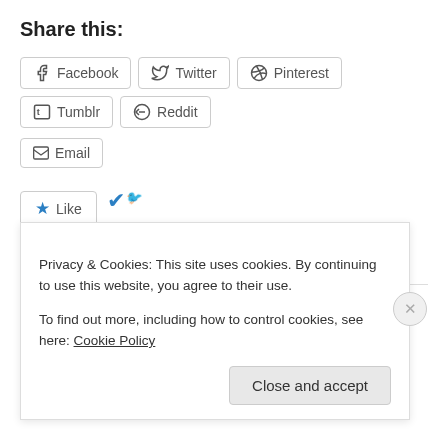Share this:
[Figure (other): Row of social share buttons: Facebook, Twitter, Pinterest, Tumblr, Reddit, Email]
[Figure (other): Like button with star icon and checkmark avatar. Text below: One blogger likes this.]
One blogger likes this.
Related
Weekend Picks! March 28-30th
March 28, 2014
Privacy & Cookies: This site uses cookies. By continuing to use this website, you agree to their use. To find out more, including how to control cookies, see here: Cookie Policy
Close and accept